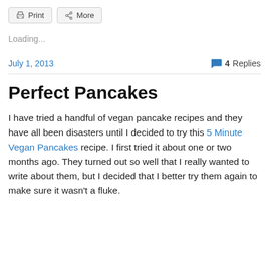Print   More
Loading...
July 1, 2013   4 Replies
Perfect Pancakes
I have tried a handful of vegan pancake recipes and they have all been disasters until I decided to try this 5 Minute Vegan Pancakes recipe. I first tried it about one or two months ago. They turned out so well that I really wanted to write about them, but I decided that I better try them again to make sure it wasn't a fluke.